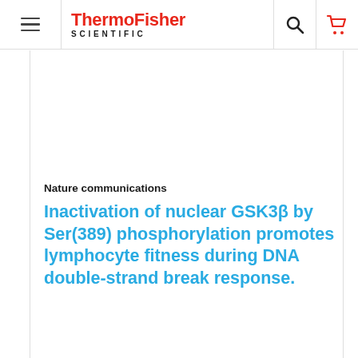ThermoFisher SCIENTIFIC
Nature communications
Inactivation of nuclear GSK3β by Ser(389) phosphorylation promotes lymphocyte fitness during DNA double-strand break response.